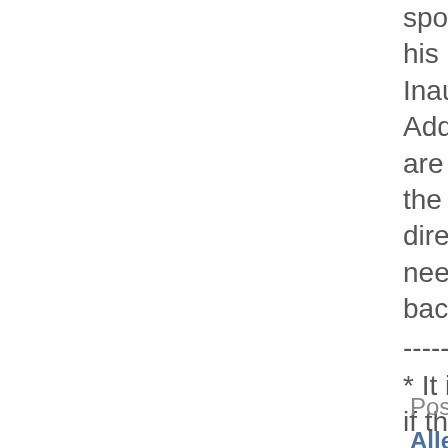spoke of in his First Inaugural Address.  We are going in the wrong direction. We need to turn back.
------------
* It is unclear if the supervisor has heard of or knows about Joseph Smith.
Posted by Pat Allen on October 24, 2014 at